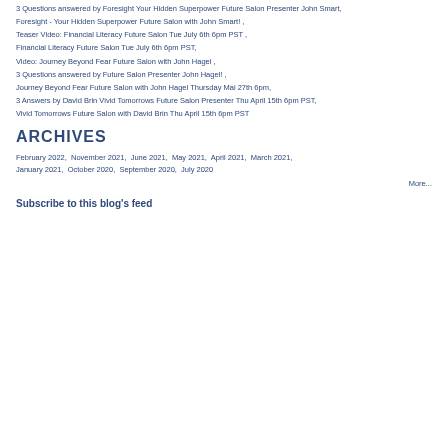3 Questions answered by Foresight Your Hidden Superpower Future Salon Presenter John Smart,
Foresight - Your Hidden Superpower Future Salon with John Smart! ,
Teaser Video: Financial Literacy Future Salon Tue July 6th 6pm PST ,
Financial Literacy Future Salon Tue July 6th 6pm PST,
Video: Journey Beyond Fear Future Salon with John Hagel ,
3 Questions answered by Future Salon Presenter John Hagel! ,
Journey Beyond Fear Future Salon with John Hagel Thursday Mai 27th 6pm,
3 Answers by David Brin Vivid Tomorrows Future Salon Presenter Thu April 15th 6pm PST,
Vivid Tomorrows Future Salon with David Brin Thu April 15th 6pm PST
ARCHIVES
February 2022,  November 2021,  June 2021,  May 2021,  April 2021,  March 2021, January 2021,  October 2020,  September 2020,  July 2020
More...
Subscribe to this blog's feed